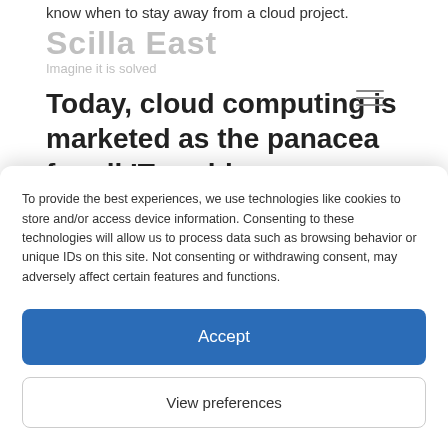know when to stay away from a cloud project.
Scilla East — Imagine it is solved
Today, cloud computing is marketed as the panacea for all IT problems, promising that it renders companies more efficient, allows them to serve the customer better, and enables them to cut
To provide the best experiences, we use technologies like cookies to store and/or access device information. Consenting to these technologies will allow us to process data such as browsing behavior or unique IDs on this site. Not consenting or withdrawing consent, may adversely affect certain features and functions.
Accept
View preferences